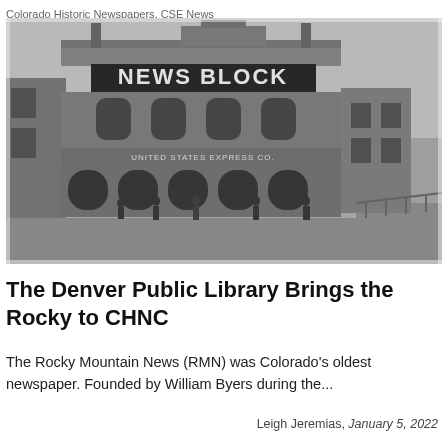Colorado Historic Newspapers, CSE News
[Figure (photo): Black and white historic photograph of a brick building with 'NEWS BLOCK' written on the facade. The building has arched windows and doorways on the ground floor. A sign reads 'United States Express Co.' Several people are standing in front of the building on a wooden sidewalk.]
The Denver Public Library Brings the Rocky to CHNC
The Rocky Mountain News (RMN) was Colorado's oldest newspaper. Founded by William Byers during the...
Leigh Jeremias, January 5, 2022